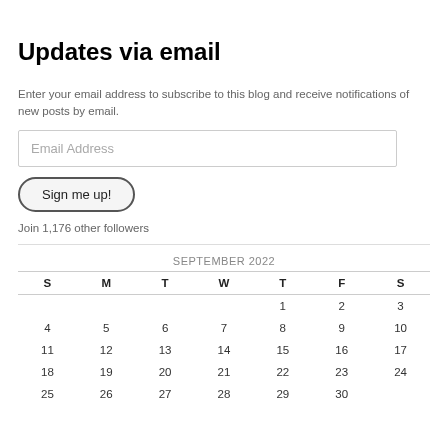Updates via email
Enter your email address to subscribe to this blog and receive notifications of new posts by email.
Email Address
Sign me up!
Join 1,176 other followers
| S | M | T | W | T | F | S |
| --- | --- | --- | --- | --- | --- | --- |
|  |  |  |  | 1 | 2 | 3 |
| 4 | 5 | 6 | 7 | 8 | 9 | 10 |
| 11 | 12 | 13 | 14 | 15 | 16 | 17 |
| 18 | 19 | 20 | 21 | 22 | 23 | 24 |
| 25 | 26 | 27 | 28 | 29 | 30 |  |